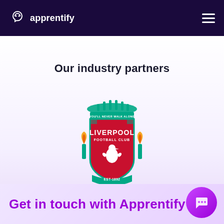apprentify
Our industry partners
[Figure (logo): Liverpool Football Club crest logo. Red shield with 'LIVERPOOL FOOTBALL CLUB' text, Liver bird, torches on either side, teal decorative elements, banner reading 'YOU'LL NEVER WALK ALONE', and 'EST·1892' at the bottom.]
Get in touch with Apprentify